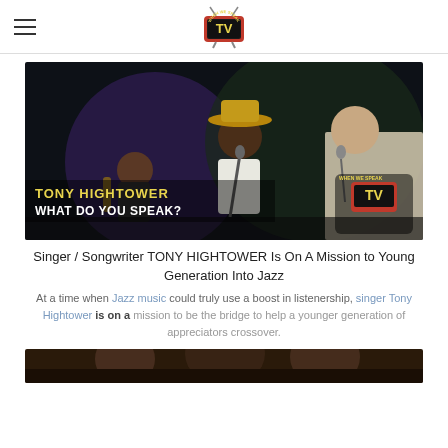When We Speak TV logo and hamburger menu
[Figure (photo): Concert photo showing Tony Hightower on stage in a hat and white shirt singing into a microphone, with band members, overlaid text 'TONY HIGHTOWER / WHAT DO YOU SPEAK?' and When We Speak TV logo in bottom right]
Singer / Songwriter TONY HIGHTOWER Is On A Mission to Young Generation Into Jazz
At a time when Jazz music could truly use a boost in listenership, singer Tony Hightower is on a mission to be the bridge to help a younger generation of appreciators crossover.
[Figure (photo): Bottom partial photo strip showing people]